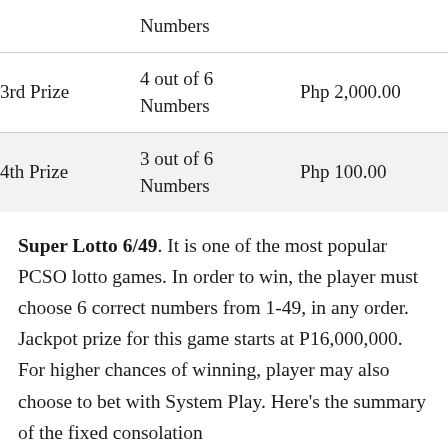| Prize | Match | Amount |
| --- | --- | --- |
|  | Numbers |  |
| 3rd Prize | 4 out of 6 Numbers | Php 2,000.00 |
| 4th Prize | 3 out of 6 Numbers | Php 100.00 |
Super Lotto 6/49. It is one of the most popular PCSO lotto games. In order to win, the player must choose 6 correct numbers from 1-49, in any order. Jackpot prize for this game starts at P16,000,000. For higher chances of winning, player may also choose to bet with System Play. Here's the summary of the fixed consolation